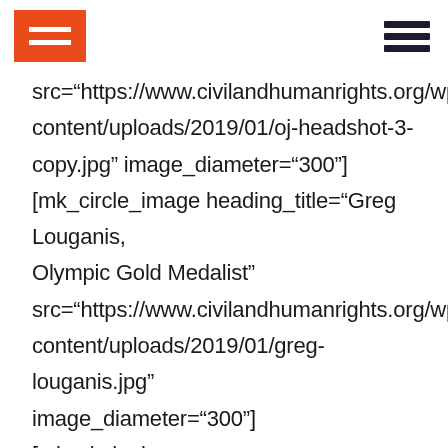[Figure (logo): Orange rectangle logo with white horizontal line in center]
[Figure (other): Hamburger menu icon with three dark horizontal bars]
src="https://www.civilandhumanrights.org/wp-content/uploads/2019/01/oj-headshot-3-copy.jpg" image_diameter="300"] [mk_circle_image heading_title="Greg Louganis, Olympic Gold Medalist" src="https://www.civilandhumanrights.org/wp-content/uploads/2019/01/greg-louganis.jpg" image_diameter="300"][mk_circle_image heading_title="Scott Pioli, Assistant General Manager of the Atlanta Falcons"